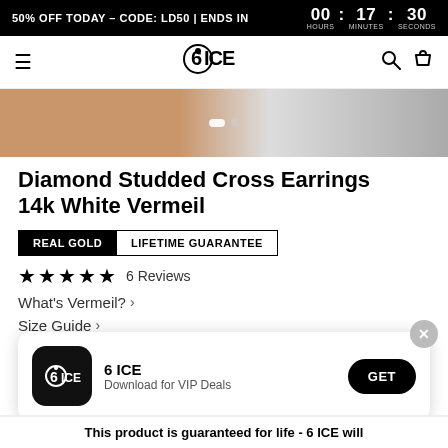50% OFF TODAY - CODE: LD50 | ENDS IN   00 HOURS : 17 MINUTES : 30 SECONDS
Diamond Studded Cross Earrings 14k White Vermeil
REAL GOLD   LIFETIME GUARANTEE
★★★★★ 6 Reviews
What's Vermeil? >
Size Guide >
[Figure (screenshot): App download popup with 6 ICE logo, '6 ICE', 'Download for VIP Deals', and GET button]
This product is guaranteed for life - 6 ICE will